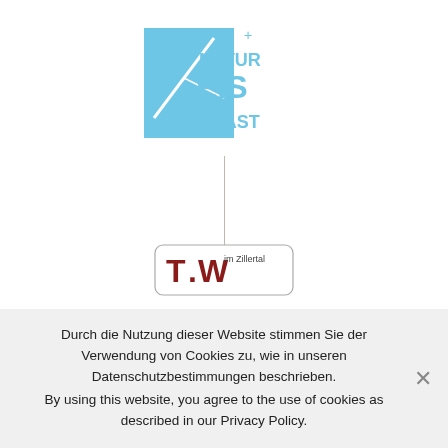[Figure (logo): Natur Eis Palast logo in light blue with stylized mountain/ice graphic and text 'NATUR EIS PALAST']
[Figure (logo): Zillertal TirolWest logo with dark red T symbol and 'im Zillertal' text in a rounded rectangle border]
Durch die Nutzung dieser Website stimmen Sie der Verwendung von Cookies zu, wie in unseren Datenschutzbestimmungen beschrieben.
By using this website, you agree to the use of cookies as described in our Privacy Policy.